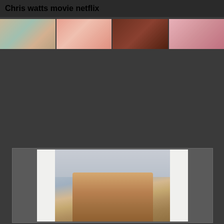Chris watts movie netflix
[Figure (photo): Strip of four thumbnail images in a row at the top of the page]
[Figure (photo): A photograph of a man inside a bordered frame on a dark background]